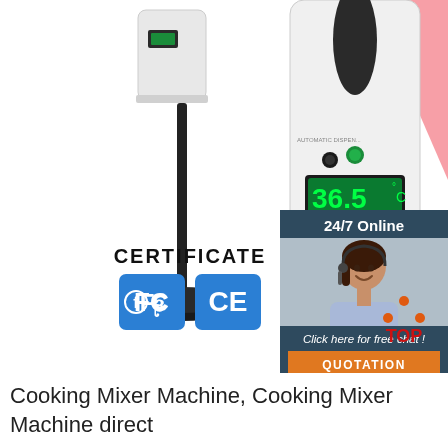[Figure (photo): Product image showing an automatic hand sanitizer dispenser on a floor stand (left) and a close-up of an automatic dispenser with temperature display showing 36.5°C (right), with a red light beam effect, white background. Certificate logos FCC and CE shown in blue squares in the center.]
[Figure (infographic): 24/7 Online customer service chat box with a smiling woman wearing a headset, dark teal background, italic text 'Click here for free chat !' and an orange QUOTATION button.]
[Figure (logo): TOP badge with orange triangle dots above the word TOP in red bold text.]
Cooking Mixer Machine, Cooking Mixer Machine direct